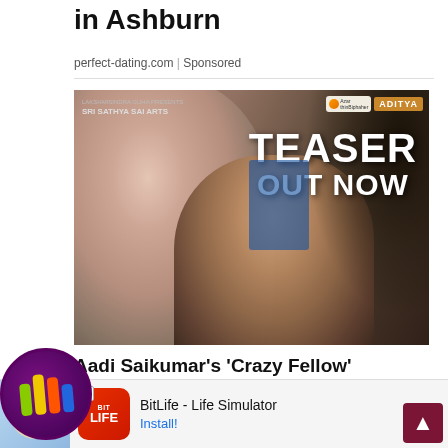in Ashburn
perfect-dating.com | Sponsored
[Figure (photo): Movie promotional poster for 'Crazy Fellow' showing TEASER OUT NOW text with two actors and Sri Sathya Sai Arts banner]
Aadi Saikumar's 'Crazy Fellow' Teaser is t!!
ahari
[Figure (photo): App icon for a messaging/social app — dark purple circular background with colorful sliced logo]
[Figure (photo): Advertisement banner for BitLife - Life Simulator app with Install button]